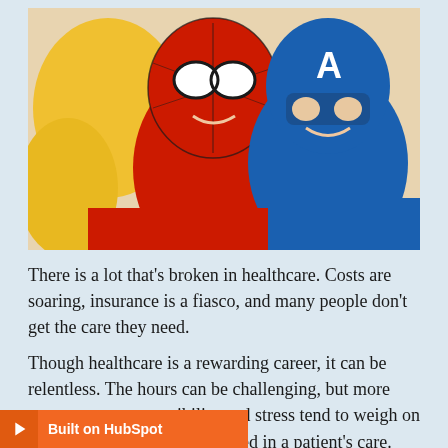[Figure (photo): Two young children in superhero costumes smiling together. One child wears a Spider-Man mask and red costume, the other wears a Captain America blue mask and costume. A yellow stuffed animal is visible in the background.]
There is a lot that's broken in healthcare. Costs are soaring, insurance is a fiasco, and many people don't get the care they need.
Though healthcare is a rewarding career, it can be relentless. The hours can be challenging, but more responsibility and stress tend to weigh on on every single person involved in a patient's care.